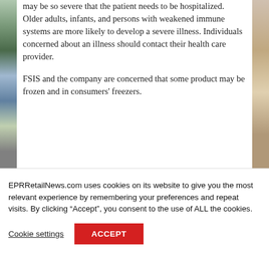may be so severe that the patient needs to be hospitalized. Older adults, infants, and persons with weakened immune systems are more likely to develop a severe illness. Individuals concerned about an illness should contact their health care provider.
FSIS and the company are concerned that some product may be frozen and in consumers' freezers.
EPRRetailNews.com uses cookies on its website to give you the most relevant experience by remembering your preferences and repeat visits. By clicking “Accept”, you consent to the use of ALL the cookies.